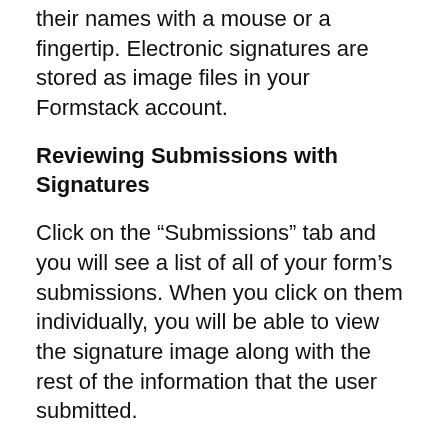publish your form, your users will be able to sign their names with a mouse or a fingertip. Electronic signatures are stored as image files in your Formstack account.
Reviewing Submissions with Signatures
Click on the “Submissions” tab and you will see a list of all of your form’s submissions. When you click on them individually, you will be able to view the signature image along with the rest of the information that the user submitted.
Creating Reports with Signatures
You can create a report to review some or all of your form’s submissions. When you export your data into a PDF, the report will include the image of the signature. The report will also include a